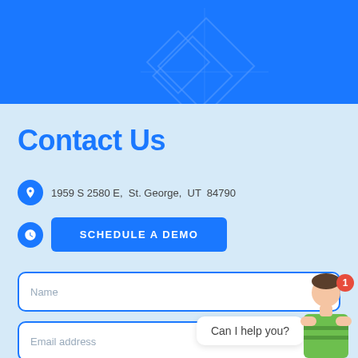[Figure (illustration): Blue header banner with decorative diamond/grid pattern overlay in lighter blue, top portion of a contact page]
Contact Us
1959 S 2580 E,  St. George,  UT  84790
SCHEDULE A DEMO
Name
Email address
Can I help you?